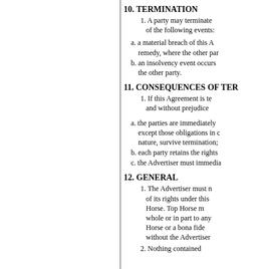10. TERMINATION
1. A party may terminate of the following events:
a. a material breach of this A remedy, where the other pa
b. an insolvency event occurs the other party.
11. CONSEQUENCES OF TER
1. If this Agreement is te and without prejudice
a. the parties are immediately except those obligations in nature, survive termination;
b. each party retains the rights
c. the Advertiser must immedia
12. GENERAL
1. The Advertiser must n of its rights under this Horse. Top Horse m whole or in part to any Horse or a bona fide without the Advertiser
2. Nothing contained